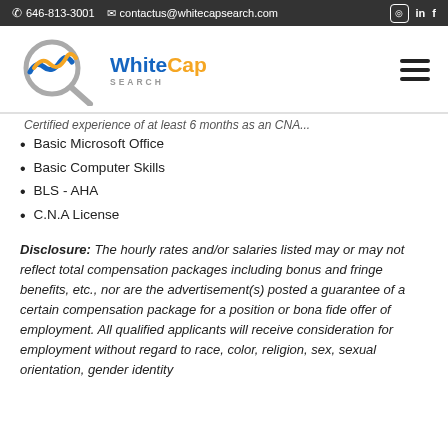646-813-3001  contactus@whitecapsearch.com
[Figure (logo): WhiteCap Search logo with wave/magnifier graphic and text 'WhiteCap SEARCH']
Certified experience of at least 6 months as an CNA...
Basic Microsoft Office
Basic Computer Skills
BLS - AHA
C.N.A License
Disclosure:  The hourly rates and/or salaries listed may or may not reflect total compensation packages including bonus and fringe benefits, etc., nor are the advertisement(s) posted a guarantee of a certain compensation package for a position or bona fide offer of employment.  All qualified applicants will receive consideration for employment without regard to race, color, religion, sex, sexual orientation, gender identity